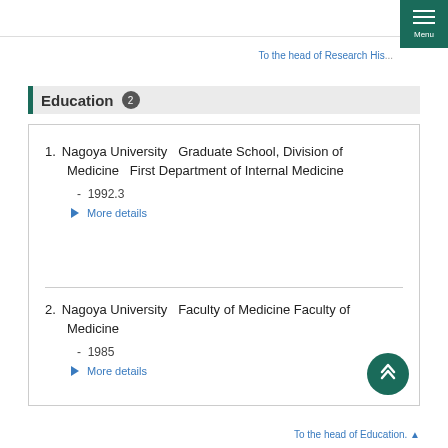To the head of Research History
Education 2
1. Nagoya University   Graduate School, Division of Medicine   First Department of Internal Medicine
- 1992.3
▶ More details
2. Nagoya University   Faculty of Medicine Faculty of Medicine
- 1985
▶ More details
To the head of Education. ▲